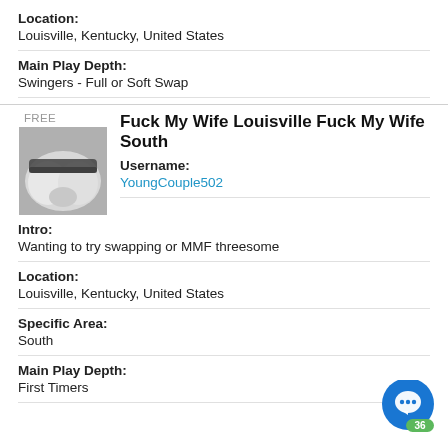Location:
Louisville, Kentucky, United States
Main Play Depth:
Swingers - Full or Soft Swap
Fuck My Wife Louisville Fuck My Wife South
Username:
YoungCouple502
Intro:
Wanting to try swapping or MMF threesome
Location:
Louisville, Kentucky, United States
Specific Area:
South
Main Play Depth:
First Timers